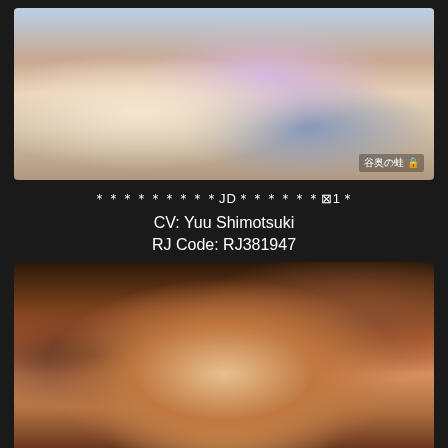[Figure (illustration): Anime illustration showing a female character with long dark blue hair in a bedroom setting, with a watermark '谷奥の蛙' in bottom right corner]
＊＊＊＊＊＊＊＊＊JD＊＊＊＊＊＊⊠1＊
CV: Yuu Shimotsuki
RJ Code: RJ381947
[Figure (illustration): Close-up illustration of an anime/3D rendered girl character with brown/orange hair, bangs, and glasses, looking upward against a warm blurred background]